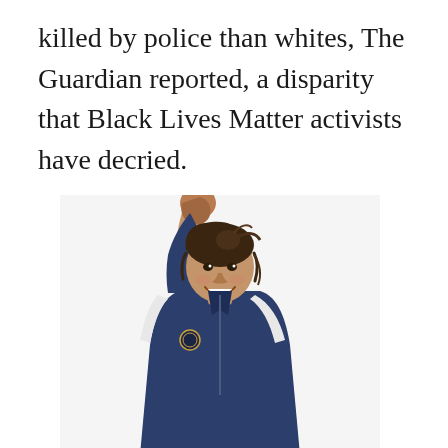killed by police than whites, The Guardian reported, a disparity that Black Lives Matter activists have decried.
[Figure (photo): A young woman with her right fist raised in the air, smiling, wearing a navy blue athletic jacket with white accents and a team logo. Her hair is pulled back. The background is white/light gray.]